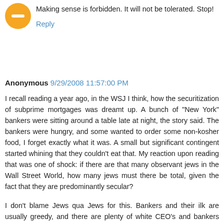[Figure (illustration): Orange circular avatar icon with a minus/dash symbol in the center]
Making sense is forbidden. It will not be tolerated. Stop!
Reply
Anonymous 9/29/2008 11:57:00 PM
I recall reading a year ago, in the WSJ I think, how the securitization of subprime mortgages was dreamt up. A bunch of "New York" bankers were sitting around a table late at night, the story said. The bankers were hungry, and some wanted to order some non-kosher food, I forget exactly what it was. A small but significant contingent started whining that they couldn't eat that. My reaction upon reading that was one of shock: if there are that many observant jews in the Wall Street World, how many jews must there be total, given the fact that they are predominantly secular?
I don't blame Jews qua Jews for this. Bankers and their ilk are usually greedy, and there are plenty of white CEO's and bankers guilty of the same. But you're right, you would think someone would have commented by now on the fact